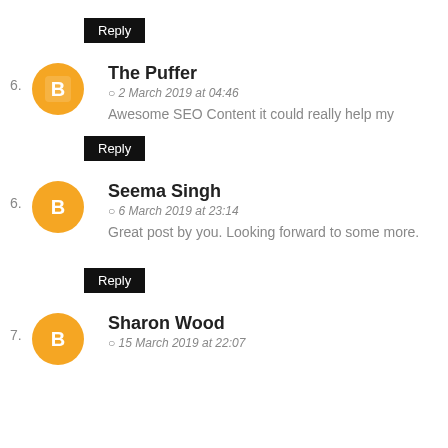Reply
The Puffer
2 March 2019 at 04:46
Awesome SEO Content it could really help my
Reply
Seema Singh
6 March 2019 at 23:14
Great post by you. Looking forward to some more.
Reply
Sharon Wood
15 March 2019 at 22:07